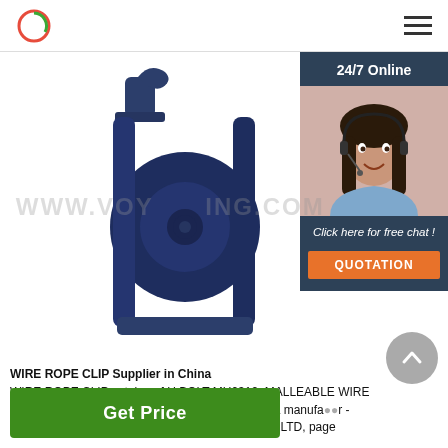www.voyagering.com
[Figure (photo): Product photo of a blue wire rope pulley/block used in rigging, with a sidebar showing a 24/7 Online chat widget with a female customer service representative, and watermark text WWW.VOYAGERING.COM]
WIRE ROPE CLIP Supplier in China
WIRE ROPE CLIP catalog of U BOLT MH0312, MALLEABLE WIRE ROPE CLIP U.S TYPE MH0304 provided by China manufacturer - NINGBO METALS & WIRE ROPE FITTINGS CO., LTD, page
Get Price